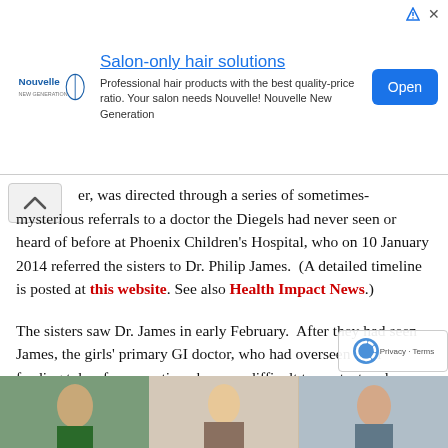[Figure (other): Advertisement banner: Nouvelle hair products. Title: 'Salon-only hair solutions'. Body: 'Professional hair products with the best quality-price ratio. Your salon needs Nouvelle! Nouvelle New Generation'. Blue 'Open' button on the right.]
er, was directed through a series of sometimes-mysterious referrals to a doctor the Diegels had never seen or heard of before at Phoenix Children's Hospital, who on 10 January 2014 referred the sisters to Dr. Philip James. (A detailed timeline is posted at this website. See also Health Impact News.)
The sisters saw Dr. James in early February. After they had seen James, the girls' primary GI doctor, who had overseen their feeding tubes for some time, became difficult to contact and ceased his proactive management of their feeding-tube regimen.
[Figure (photo): Strip of three partial images at the bottom of the page showing people.]